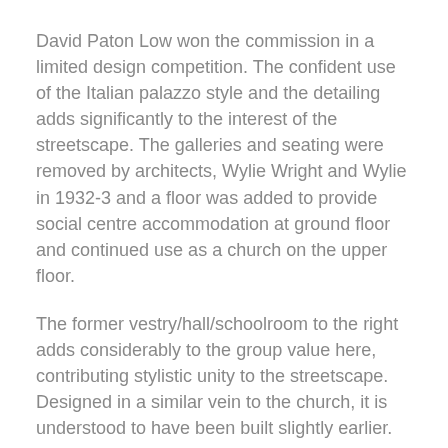David Paton Low won the commission in a limited design competition. The confident use of the Italian palazzo style and the detailing adds significantly to the interest of the streetscape. The galleries and seating were removed by architects, Wylie Wright and Wylie in 1932-3 and a floor was added to provide social centre accommodation at ground floor and continued use as a church on the upper floor.
The former vestry/hall/schoolroom to the right adds considerably to the group value here, contributing stylistic unity to the streetscape. Designed in a similar vein to the church, it is understood to have been built slightly earlier.
The Haig & Low partnership practiced in Glasgow from 1859 until 1875. John Haig was born in Glasgow. David Paton Low was from Dundee where he trained and from where he won the